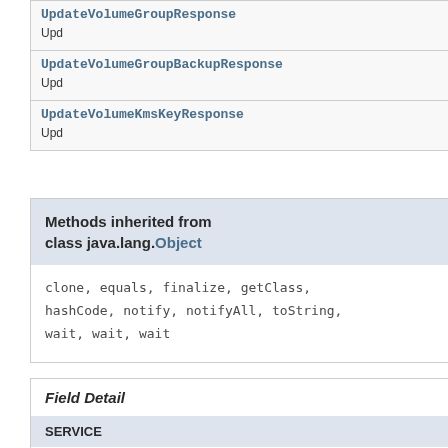| UpdateVolumeGroupResponse | upd... | Upd... |
| UpdateVolumeGroupBackupResponse | upd... | Upd... |
| UpdateVolumeKmsKeyResponse | upd... | Upd... |
Methods inherited from class java.lang.Object
clone, equals, finalize, getClass, hashCode, notify, notifyAll, toString, wait, wait, wait
Field Detail
SERVICE
public static final Service SERVICE